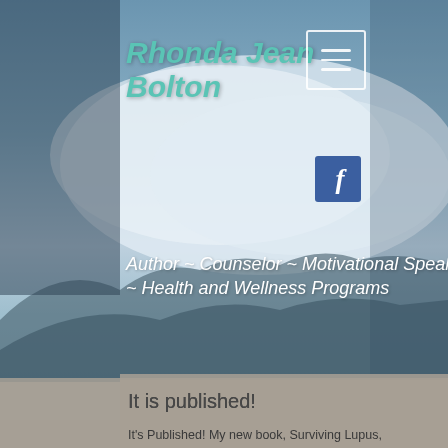Rhonda Jean Bolton
[Figure (other): Hamburger menu button icon with three horizontal lines in a square border]
[Figure (other): Facebook icon button with 'f' logo on blue background]
Author ~ Counselor ~ Motivational Speaker ~ Health and Wellness Programs
It is published!
It's Published! My new book, Surviving Lupus, Levaquin, & Life, is ready for purchase on Amazon in paperback form! The ebook should be available in several days, and both will be also be available through my website within the